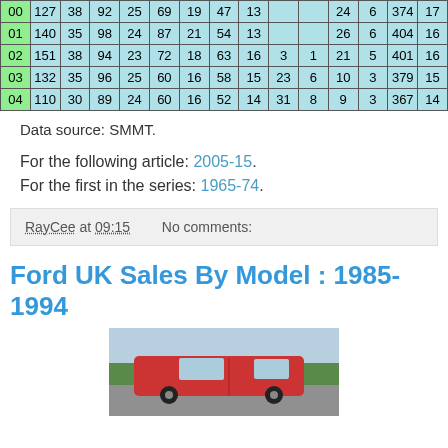| 00 | 127 | 38 | 92 | 25 | 69 | 19 | 47 | 13 |  |  | 24 | 6 | 374 | 17 |
| 01 | 140 | 35 | 98 | 24 | 87 | 21 | 54 | 13 |  |  | 26 | 6 | 404 | 16 |
| 02 | 151 | 38 | 94 | 23 | 72 | 18 | 63 | 16 | 3 | 1 | 21 | 5 | 401 | 16 |
| 03 | 132 | 35 | 96 | 25 | 60 | 16 | 58 | 15 | 23 | 6 | 10 | 3 | 379 | 15 |
| 04 | 110 | 30 | 89 | 24 | 60 | 16 | 52 | 14 | 31 | 8 | 9 | 3 | 367 | 14 |
Data source: SMMT.
For the following article: 2005-15.
For the first in the series: 1965-74.
RayCee at 09:15    No comments:
Ford UK Sales By Model : 1985-1994
[Figure (photo): Red car parked in front of a green hedgerow and road.]